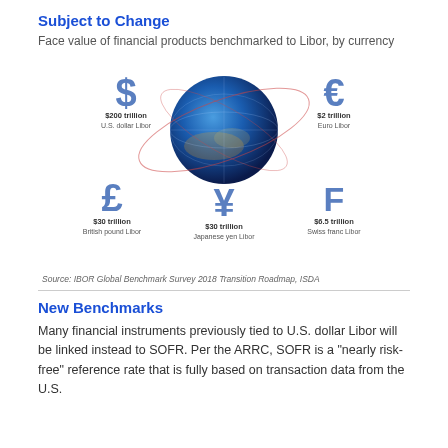Subject to Change
Face value of financial products benchmarked to Libor, by currency
[Figure (infographic): Infographic showing currency symbols (dollar, euro, pound, yen, Swiss franc) arranged around a globe, each labeled with the face value of financial products benchmarked to that currency's Libor. Dollar: $200 trillion U.S. dollar Libor; Euro: $2 trillion Euro Libor; Pound: $30 trillion British pound Libor; Yen: $30 trillion Japanese yen Libor; Swiss Franc: $6.5 trillion Swiss franc Libor.]
Source: IBOR Global Benchmark Survey 2018 Transition Roadmap, ISDA
New Benchmarks
Many financial instruments previously tied to U.S. dollar Libor will be linked instead to SOFR. Per the ARRC, SOFR is a “nearly risk-free” reference rate that is fully based on transaction data from the U.S.